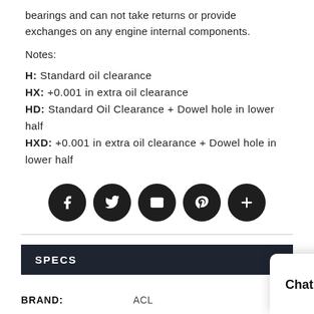bearings and can not take returns or provide exchanges on any engine internal components.
Notes:
H: Standard oil clearance
HX: +0.001 in extra oil clearance
HD: Standard Oil Clearance + Dowel hole in lower half
HXD: +0.001 in extra oil clearance + Dowel hole in lower half
[Figure (other): Social share buttons row: Facebook, Twitter, Email, Pinterest, Plus]
SPECS
|  |  |
| --- | --- |
| BRAND: | ACL |
| MPN: |  |